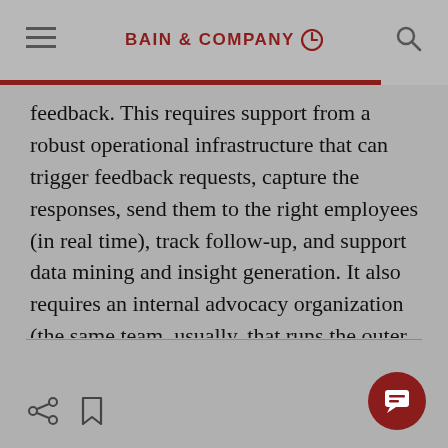BAIN & COMPANY
feedback. This requires support from a robust operational infrastructure that can trigger feedback requests, capture the responses, send them to the right employees (in real time), track follow-up, and support data mining and insight generation. It also requires an internal advocacy organization (the same team, usually, that runs the outer loop) and strong analytics capabilities.